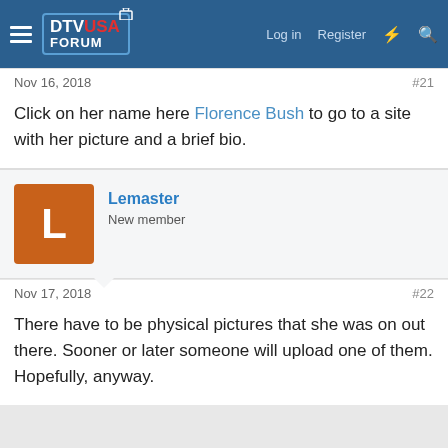DTV USA FORUM — Log in | Register
Nov 16, 2018  #21
Click on her name here Florence Bush to go to a site with her picture and a brief bio.
Lemaster
New member
Nov 17, 2018  #22
There have to be physical pictures that she was on out there. Sooner or later someone will upload one of them. Hopefully, anyway.